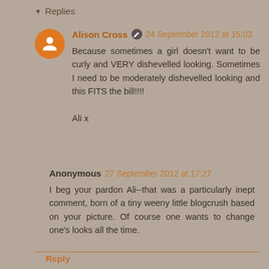▼ Replies
Alison Cross ✏ 24 September 2012 at 15:03

Because sometimes a girl doesn't want to be curly and VERY dishevelled looking. Sometimes I need to be moderately dishevelled looking and this FITS the bill!!!!

Ali x
Anonymous 27 September 2012 at 17:27

I beg your pardon Ali--that was a particularly inept comment, born of a tiny weeny little blogcrush based on your picture. Of course one wants to change one's looks all the time.
Reply
Young at Heart 24 September 2012 at 10:32